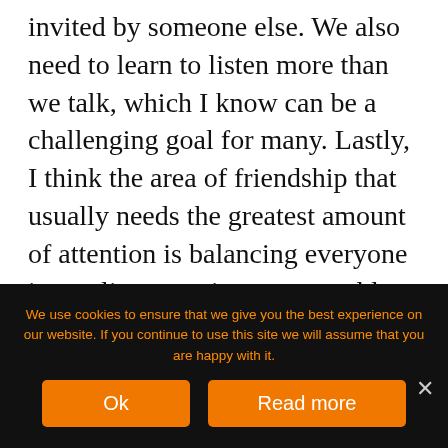invited by someone else. We also need to learn to listen more than we talk, which I know can be a challenging goal for many. Lastly, I think the area of friendship that usually needs the greatest amount of attention is balancing everyone in our lives, not just new or old, which has been my biggest challenge. I love my friends and am blessed to have many, both female and male.
We use cookies to ensure that we give you the best experience on our website. If you continue to use this site we will assume that you are happy with it.